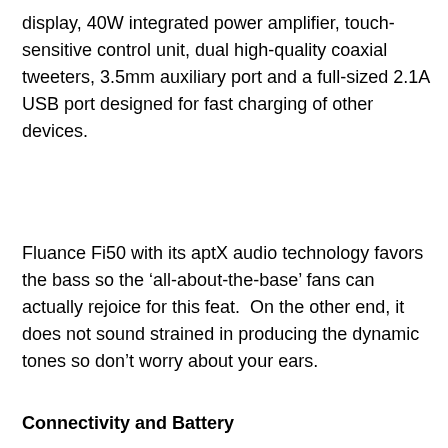display, 40W integrated power amplifier, touch-sensitive control unit, dual high-quality coaxial tweeters, 3.5mm auxiliary port and a full-sized 2.1A USB port designed for fast charging of other devices.
Fluance Fi50 with its aptX audio technology favors the bass so the ‘all-about-the-base’ fans can actually rejoice for this feat.  On the other end, it does not sound strained in producing the dynamic tones so don’t worry about your ears.
Connectivity and Battery